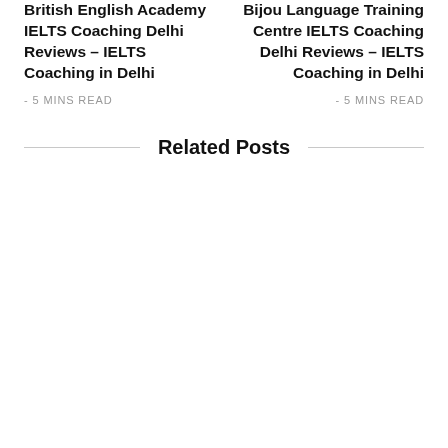British English Academy IELTS Coaching Delhi Reviews – IELTS Coaching in Delhi
- 5 MINS READ
Bijou Language Training Centre IELTS Coaching Delhi Reviews – IELTS Coaching in Delhi
- 5 MINS READ
Related Posts